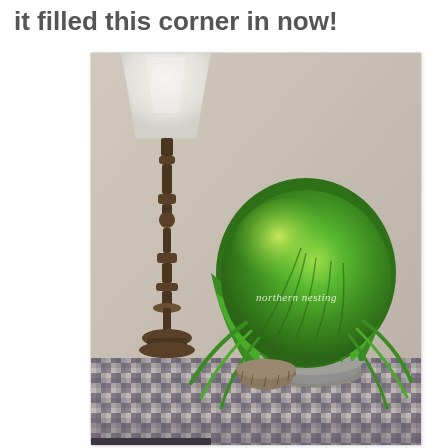it filled this corner in now!
[Figure (photo): Indoor decorating scene showing a Boston fern plant in a metal pot on a side table covered with a navy gingham/buffalo check tablecloth. A tall dark wooden lamp with a white shade stands to the left of the fern. A small woven basket sits on the table in front of the plant. The watermark 'northern nesting' appears in white italic text overlaid on the photo.]